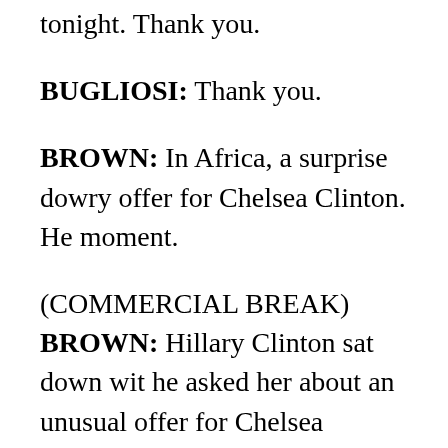tonight. Thank you.
BUGLIOSI: Thank you.
BROWN: In Africa, a surprise dowry offer for Chelsea Clinton. He moment.
(COMMERCIAL BREAK) BROWN: Hillary Clinton sat down with he asked her about an unusual offer for Chelsea Clinton. Listen to t
(BEGIN VIDEO CLIP)
FAREED ZAKARIA, CNN HOST, "FAREED ZAKARIA GPS": A says he offered Bill Clinton 40 goats and 20 cows for his daughter's ago. He is still awaiting an answer and I thought on this occasion, y think about -- if you think in the current global economic climate w